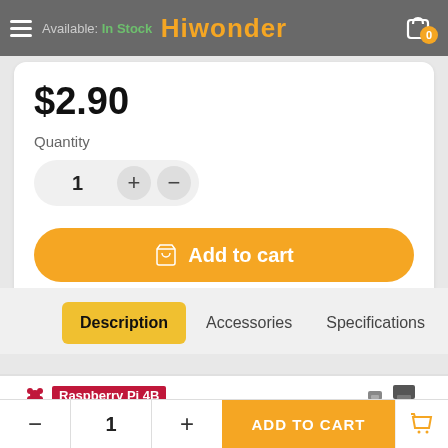Hiwonder — Available: In Stock
$2.90
Quantity
1
Add to cart
Description   Accessories   Specifications
Raspberry Pi 4B
- 1 + ADD TO CART